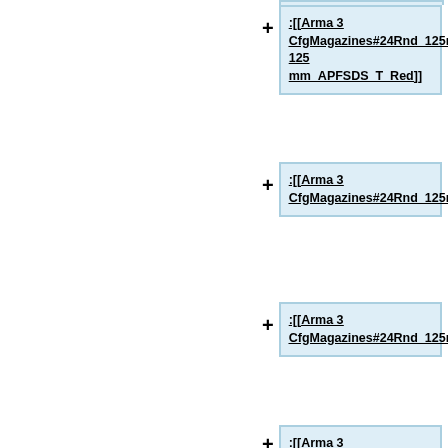:[[Arma 3 CfgMagazines#24Rnd_125mm_APFSDS_T_Red|24Rnd 125 mm_APFSDS_T_Red]]
:[[Arma 3 CfgMagazines#24Rnd_125mm_APFSDS_T_Green|24Rnd_125mm_APFSDS_T_Green]]
:[[Arma 3 CfgMagazines#24Rnd_125mm_APFSDS_T_Yellow|24Rnd_125mm_APFSDS_T_Yellow]]
:[[Arma 3 CfgMagazines#12Rnd_125mm_HE|12Rnd_125mm_HE]]
:[[Arma 3 CfgMagazines#12Rnd_125mm_